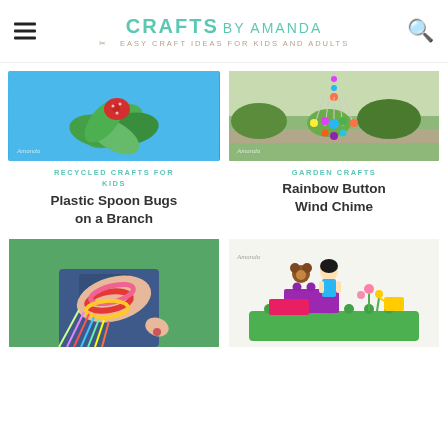CRAFTS BY AMANDA — EASY CRAFT IDEAS FOR KIDS AND ADULTS
[Figure (photo): Craft project photo showing foam leaf shapes on blue background — Plastic Spoon Bugs on a Branch]
RECYCLED CRAFTS FOR KIDS
Plastic Spoon Bugs on a Branch
[Figure (photo): Outdoor photo of a rainbow button wind chime hanging in a garden]
GARDEN CRAFTS
Rainbow Button Wind Chime
[Figure (photo): Photo of a child's wrist wearing colorful braided friendship bracelets with fringe]
[Figure (photo): Photo of LEGO Friends figurines in a garden scene on a green LEGO baseplate]